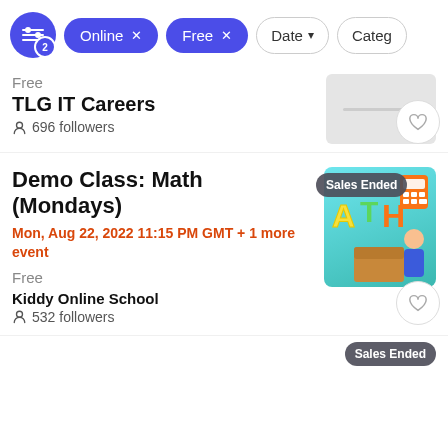Online × | Free × | Date ↓ | Category
Free
TLG IT Careers
696 followers
Demo Class: Math (Mondays)
Mon, Aug 22, 2022 11:15 PM GMT + 1 more event
Free
Kiddy Online School
532 followers
[Figure (screenshot): Math class thumbnail with colorful ATH letters and calculator, Sales Ended badge, teal background]
Sales Ended